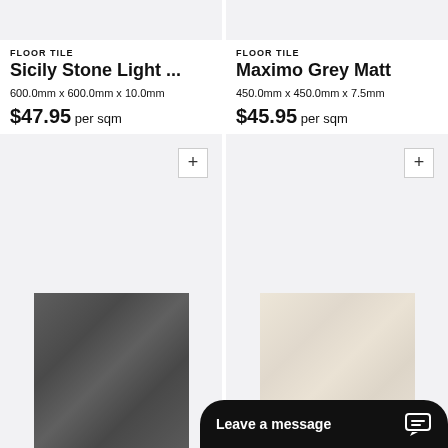FLOOR TILE
Sicily Stone Light ...
600.0mm x 600.0mm x 10.0mm
$47.95 per sqm
FLOOR TILE
Maximo Grey Matt
450.0mm x 450.0mm x 7.5mm
$45.95 per sqm
[Figure (photo): Dark charcoal/grey stone floor tile sample]
[Figure (photo): Light cream/beige stone floor tile sample]
Leave a message